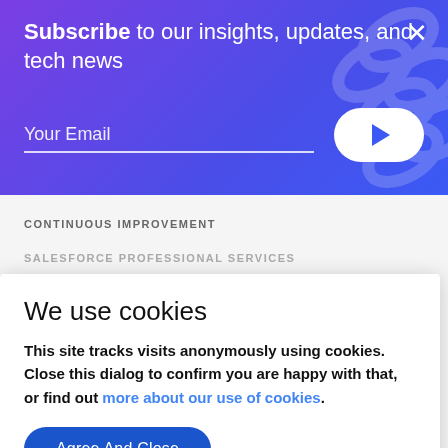Subscribe to our insights, updates, and tech news
Your Email
CONTINUOUS IMPROVEMENT
SALESFORCE PROFESSIONAL SERVICES
We use cookies
This site tracks visits anonymously using cookies. Close this dialog to confirm you are happy with that, or find out more about our use of cookies.
Agree And Close